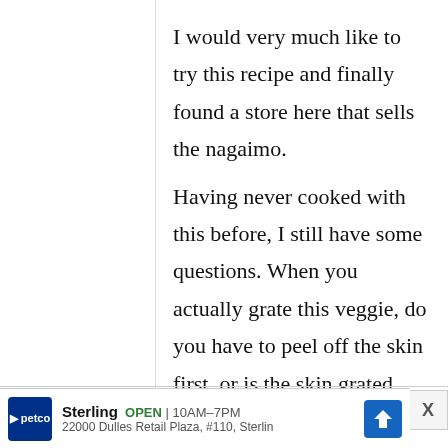I would very much like to try this recipe and finally found a store here that sells the nagaimo.

Having never cooked with this before, I still have some questions. When you actually grate this veggie, do you have to peel off the skin first, or is the skin grated with it as
[Figure (other): Advertisement banner for Petco store: Sterling location, OPEN 10AM-7PM, 22000 Dulles Retail Plaza, #110, Sterling. Shows Petco logo in dark blue, green OPEN label, and blue navigation arrow icon.]